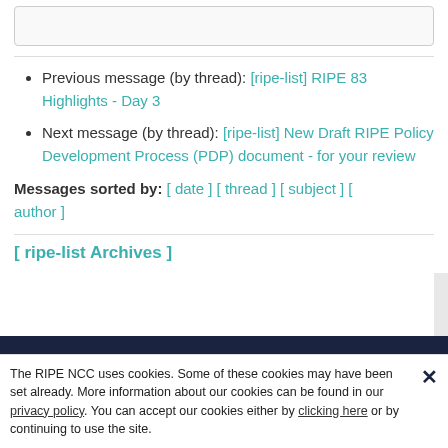Previous message (by thread): [ripe-list] RIPE 83 Highlights - Day 3
Next message (by thread): [ripe-list] New Draft RIPE Policy Development Process (PDP) document - for your review
Messages sorted by: [ date ] [ thread ] [ subject ] [ author ]
[ ripe-list Archives ]
The RIPE NCC uses cookies. Some of these cookies may have been set already. More information about our cookies can be found in our privacy policy. You can accept our cookies either by clicking here or by continuing to use the site.